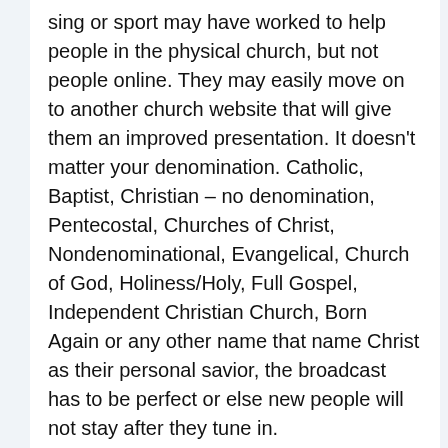sing or sport may have worked to help people in the physical church, but not people online. They may easily move on to another church website that will give them an improved presentation. It doesn't matter your denomination. Catholic, Baptist, Christian – no denomination, Pentecostal, Churches of Christ, Nondenominational, Evangelical, Church of God, Holiness/Holy, Full Gospel, Independent Christian Church, Born Again or any other name that name Christ as their personal savior, the broadcast has to be perfect or else new people will not stay after they tune in.
Once your live broadcast is attractive, then there are benefits you will enjoyed. First people might give to your ministry because people like when churches or companies are well organized. You will draw new members because people love to